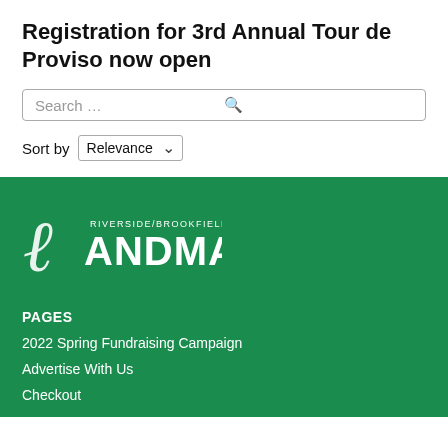Registration for 3rd Annual Tour de Proviso now open
[Figure (screenshot): Search input box with placeholder text 'Search …' and a search icon on the right]
Sort by Relevance
[Figure (logo): Riverside/Brookfield Landmark logo in white on green background]
PAGES
2022 Spring Fundraising Campaign
Advertise With Us
Checkout